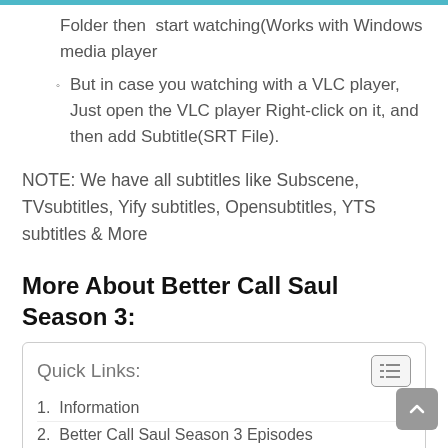Folder then  start watching(Works with Windows media player
But in case you watching with a VLC player, Just open the VLC player Right-click on it, and then add Subtitle(SRT File).
NOTE: We have all subtitles like Subscene, TVsubtitles, Yify subtitles, Opensubtitles, YTS subtitles & More
More About Better Call Saul Season 3:
Quick Links:
1. Information
2. Better Call Saul Season 3 Episodes